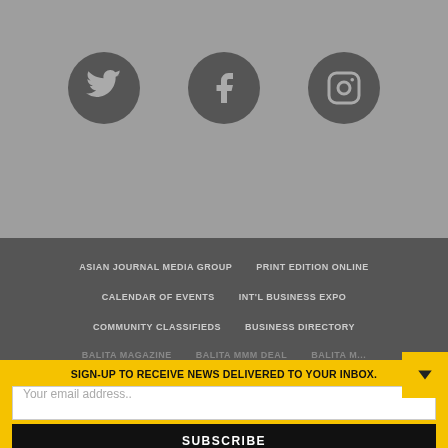[Figure (illustration): Three circular social media icons (Twitter, Facebook, Instagram) on a grey background]
ASIAN JOURNAL MEDIA GROUP
PRINT EDITION ONLINE
CALENDAR OF EVENTS
INT'L BUSINESS EXPO
COMMUNITY CLASSIFIEDS
BUSINESS DIRECTORY
SIGN-UP TO RECEIVE NEWS DELIVERED TO YOUR INBOX.
Your email address..
SUBSCRIBE